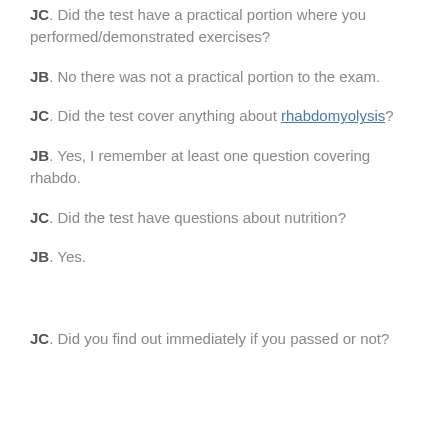JC. Did the test have a practical portion where you performed/demonstrated exercises?
JB. No there was not a practical portion to the exam.
JC. Did the test cover anything about rhabdomyolysis?
JB. Yes, I remember at least one question covering rhabdo.
JC. Did the test have questions about nutrition?
JB. Yes.
JC. Did you find out immediately if you passed or not?